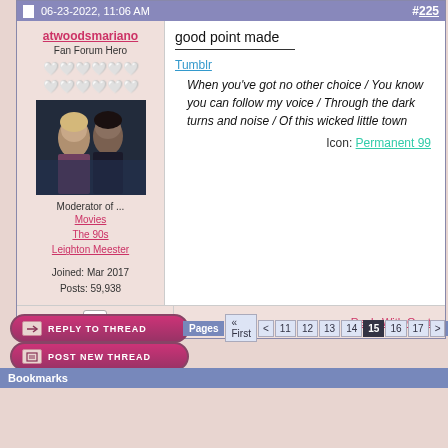06-23-2022, 11:06 AM  #225
atwoodsmariano
Fan Forum Hero
Moderator of ...
Movies
The 90s
Leighton Meester
Joined: Mar 2017
Posts: 59,938
[Figure (photo): Avatar image showing a man and woman in a dark scene]
good point made

Tumblr
When you've got no other choice / You know you can follow my voice / Through the dark turns and noise / Of this wicked little town
Icon: Permanent 99
Reply With Quote
REPLY TO THREAD
Pages « First < 11 12 13 14 15 16 17 >
POST NEW THREAD
Bookmarks